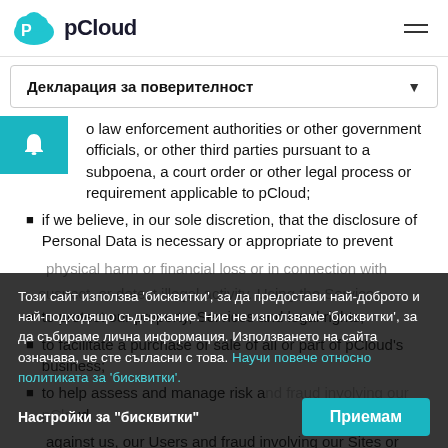pCloud
Декларация за поверителност
to law enforcement authorities or other government officials, or other third parties pursuant to a subpoena, a court order or other legal process or requirement applicable to pCloud;
if we believe, in our sole discretion, that the disclosure of Personal Data is necessary or appropriate to prevent physical harm or financial loss or in connection with...
to protect our property, Services and legal rights;
to facilitate a purchase or sale of all or part of pCloud's business;
to help assess and manage risk and fraud involving our Sites or against us, our Users and fraud involving our Sites or
Този сайт използва 'бисквитки', за да предостави най-доброто и най-подходящо съдържание. Ние не използваме 'бисквитки', за да събираме лична информация. Използването на сайта означава, че сте съгласни с това. Научи повече относно политиката за 'бисквитки'.
Настройки за "бисквитки"   Приемам